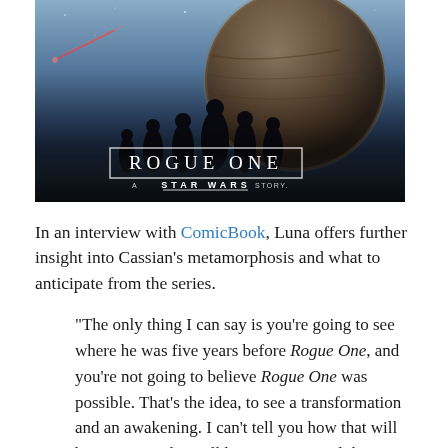[Figure (photo): Movie poster for Rogue One: A Star Wars Story showing cast of characters with space battle background]
In an interview with ComicBook, Luna offers further insight into Cassian's metamorphosis and what to anticipate from the series.
“The only thing I can say is you’re going to see where he was five years before Rogue One, and you’re not going to believe Rogue One was possible. That’s the idea, to see a transformation and an awakening. I can’t tell you how that will be represented, you’ll have to wait until the 31st of August. But it is about that, and it’s about how much we’re all capable of changing and transforming, and that’s the beauty of